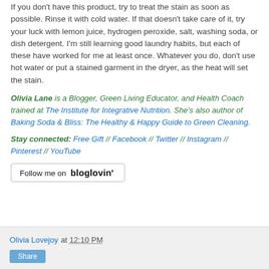If you don't have this product, try to treat the stain as soon as possible. Rinse it with cold water. If that doesn't take care of it, try your luck with lemon juice, hydrogen peroxide, salt, washing soda, or dish detergent. I'm still learning good laundry habits, but each of these have worked for me at least once. Whatever you do, don't use hot water or put a stained garment in the dryer, as the heat will set the stain.
Olivia Lane is a Blogger, Green Living Educator, and Health Coach trained at The Institute for Integrative Nutrition. She's also author of Baking Soda & Bliss: The Healthy & Happy Guide to Green Cleaning.
Stay connected: Free Gift // Facebook // Twitter // Instagram // Pinterest // YouTube
[Figure (other): Follow me on bloglovin' button/badge]
Olivia Lovejoy at 12:10 PM
Share